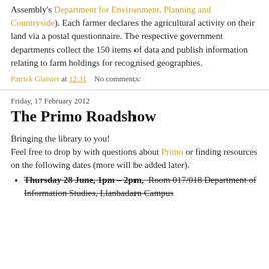Assembly's Department for Environment, Planning and Countryside). Each farmer declares the agricultural activity on their land via a postal questionnaire. The respective government departments collect the 150 items of data and publish information relating to farm holdings for recognised geographies.
Patrick Glaister at 12:31   No comments:
Friday, 17 February 2012
The Primo Roadshow
Bringing the library to you!
Feel free to drop by with questions about Primo or finding resources on the following dates (more will be added later).
Thursday 28 June, 1pm – 2pm,  Room 017/018 Department of Information Studies, Llanbadarn Campus